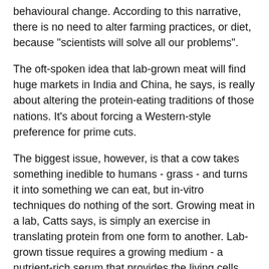behavioural change. According to this narrative, there is no need to alter farming practices, or diet, because "scientists will solve all our problems".
The oft-spoken idea that lab-grown meat will find huge markets in India and China, he says, is really about altering the protein-eating traditions of those nations. It's about forcing a Western-style preference for prime cuts.
The biggest issue, however, is that a cow takes something inedible to humans - grass - and turns it into something we can eat, but in-vitro techniques do nothing of the sort. Growing meat in a lab, Catts says, is simply an exercise in translating protein from one form to another. Lab-grown tissue requires a growing medium - a nutrient-rich serum that provides the living cells with all the stuff they need to survive, thrive, and reproduce.
"So this is the strange logic," Catts says. "You need to produce high-quality food - the serum - in order to